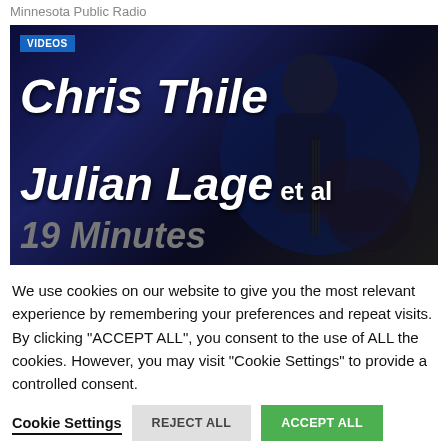Minnesota Public Radio
[Figure (screenshot): Video thumbnail showing a musician playing guitar on a dark blue stage background. Large white bold italic text overlaid: 'Chris Thile' on first line, 'Julian Lage et al' on second line, '19 Minutes' in grey below. A blue 'VIDEOS' badge is in the top-left corner.]
We use cookies on our website to give you the most relevant experience by remembering your preferences and repeat visits. By clicking "ACCEPT ALL", you consent to the use of ALL the cookies. However, you may visit "Cookie Settings" to provide a controlled consent.
Cookie Settings
REJECT ALL
ACCEPT ALL